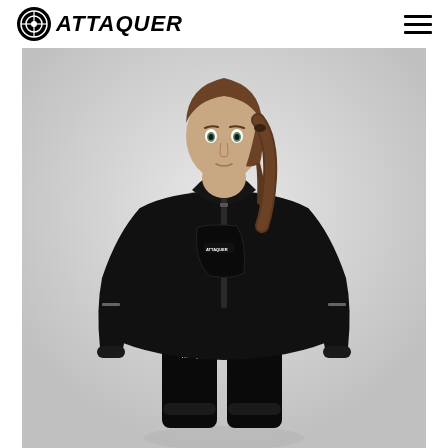ATTAQUER
[Figure (photo): Woman wearing a black Attaquer cycling jacket with full-length zip and high collar, paired with black cycling bib shorts. She is standing against a light grey background in a product photography pose.]